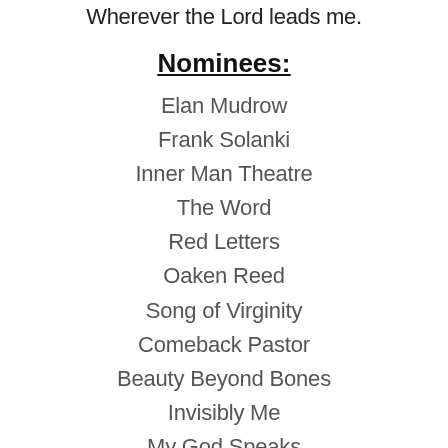Wherever the Lord leads me.
Nominees:
Elan Mudrow
Frank Solanki
Inner Man Theatre
The Word
Red Letters
Oaken Reed
Song of Virginity
Comeback Pastor
Beauty Beyond Bones
Invisibly Me
My God Speaks
Blue Heron Cove